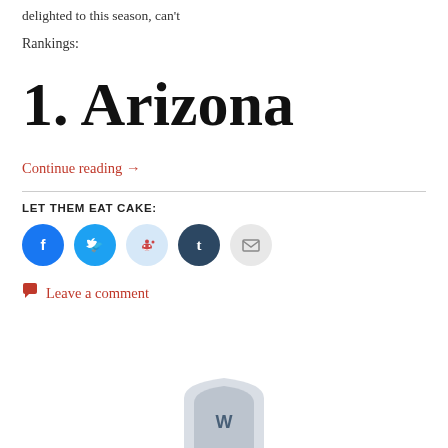delighted to this season, can't
Rankings:
1. Arizona
Continue reading →
LET THEM EAT CAKE:
[Figure (other): Social sharing icons: Facebook, Twitter, Reddit, Tumblr, Email]
Leave a comment
[Figure (logo): WordPress logo (partial, bottom of page)]